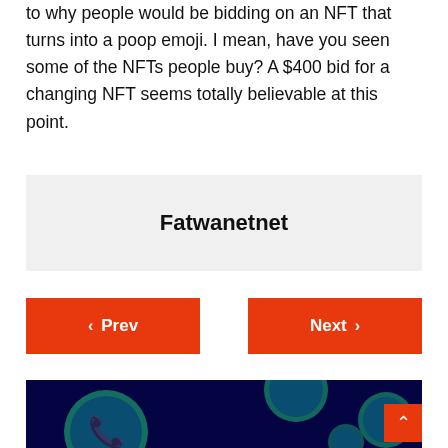to why people would be bidding on an NFT that turns into a poop emoji. I mean, have you seen some of the NFTs people buy? A $400 bid for a changing NFT seems totally believable at this point.
Fatwanetnet
< Prev    Next >
[Figure (photo): WhatsApp logo icons repeated on a dark blue/black background, green circular speech bubble logos with white phone handset icons]